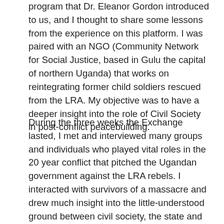program that Dr. Eleanor Gordon introduced to us, and I thought to share some lessons from the experience on this platform. I was paired with an NGO (Community Network for Social Justice, based in Gulu the capital of northern Uganda) that works on reintegrating former child soldiers rescued from the LRA. My objective was to have a deeper insight into the role of Civil Society in post-conflict peacebuilding.
During the three weeks the Exchange lasted, I met and interviewed many groups and individuals who played vital roles in the 20 year conflict that pitched the Ugandan government against the LRA rebels. I interacted with survivors of a massacre and drew much insight into the little-understood ground between civil society, the state and the international community in conflict resolution with regards to the northern Uganda conflict. I helped develop a strategic document on peace-building practice for the NGO that hosted me. And I hosted a workshop under the theme “Post-conflict peacebuilding: Global Perspectives.” The workshop